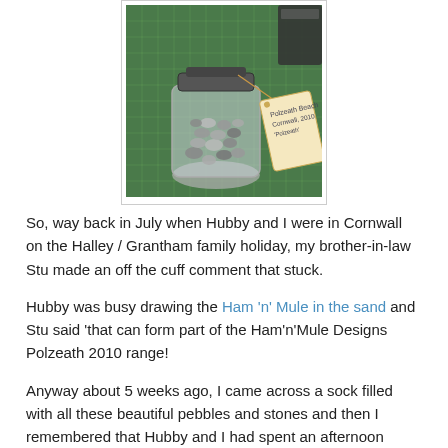[Figure (photo): A glass jar filled with pebbles and stones, with a handwritten tag attached reading 'Polzeath Beach, Cornwall 2010, Polzeath'. The jar sits on a green gridded cutting mat background.]
So, way back in July when Hubby and I were in Cornwall on the Halley / Grantham family holiday, my brother-in-law Stu made an off the cuff comment that stuck.
Hubby was busy drawing the Ham 'n' Mule in the sand and Stu said 'that can form part of the Ham'n'Mule Designs Polzeath 2010 range!
Anyway about 5 weeks ago, I came across a sock filled with all these beautiful pebbles and stones and then I remembered that Hubby and I had spent an afternoon chilling on Polzeath beach and had collected all these pebbles. However we didn't have a bag with us, so Hubby gave me one of his trainer socks to put them in! (true love right?).